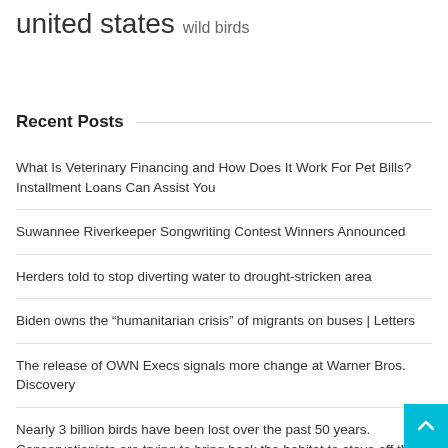united states  wild birds
Recent Posts
What Is Veterinary Financing and How Does It Work For Pet Bills? Installment Loans Can Assist You
Suwannee Riverkeeper Songwriting Contest Winners Announced
Herders told to stop diverting water to drought-stricken area
Biden owns the “humanitarian crisis” of migrants on buses | Letters
The release of OWN Execs signals more change at Warner Bros. Discovery
Nearly 3 billion birds have been lost over the past 50 years. Conservationists are trying to bring back the habitat to stave off their decline.